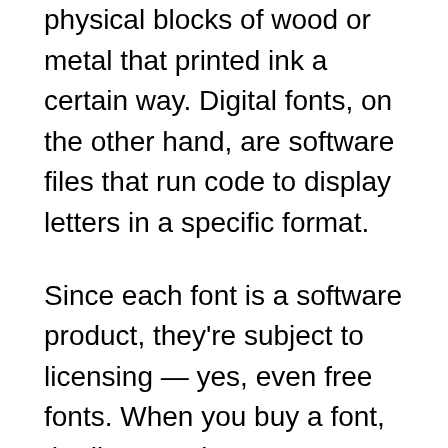physical blocks of wood or metal that printed ink a certain way. Digital fonts, on the other hand, are software files that run code to display letters in a specific format.
Since each font is a software product, they're subject to licensing — yes, even free fonts. When you buy a font, the license gives you permission to use the font software according to the terms and conditions established by the foundry that created it.
This document is called an End-User License Agreement (EULA), and it details the